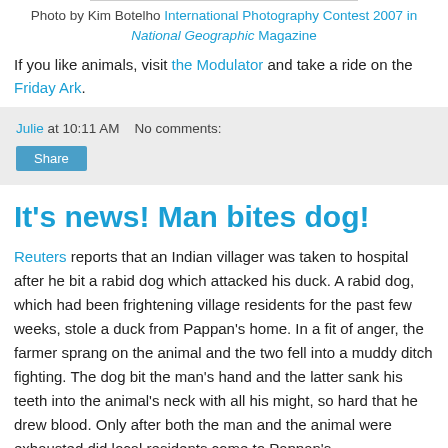Photo by Kim Botelho International Photography Contest 2007 in National Geographic Magazine
If you like animals, visit the Modulator and take a ride on the Friday Ark.
Julie at 10:11 AM   No comments:
Share
It's news! Man bites dog!
Reuters reports that an Indian villager was taken to hospital after he bit a rabid dog which attacked his duck. A rabid dog, which had been frightening village residents for the past few weeks, stole a duck from Pappan's home. In a fit of anger, the farmer sprang on the animal and the two fell into a muddy ditch fighting. The dog bit the man's hand and the latter sank his teeth into the animal's neck with all his might, so hard that he drew blood. Only after both the man and the animal were exhausted did local residents come to Pappan's